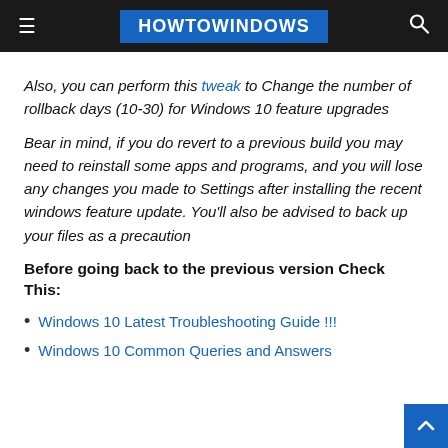HOWTOWINDOWS
Also, you can perform this tweak to Change the number of rollback days (10-30) for Windows 10 feature upgrades
Bear in mind, if you do revert to a previous build you may need to reinstall some apps and programs, and you will lose any changes you made to Settings after installing the recent windows feature update. You'll also be advised to back up your files as a precaution
Before going back to the previous version Check This:
Windows 10 Latest Troubleshooting Guide !!!
Windows 10 Common Queries and Answers